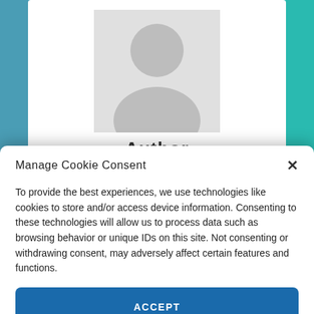[Figure (illustration): Generic user avatar silhouette placeholder image (gray person icon on white background)]
Author
Manage Cookie Consent
To provide the best experiences, we use technologies like cookies to store and/or access device information. Consenting to these technologies will allow us to process data such as browsing behavior or unique IDs on this site. Not consenting or withdrawing consent, may adversely affect certain features and functions.
ACCEPT
Privacy Policy